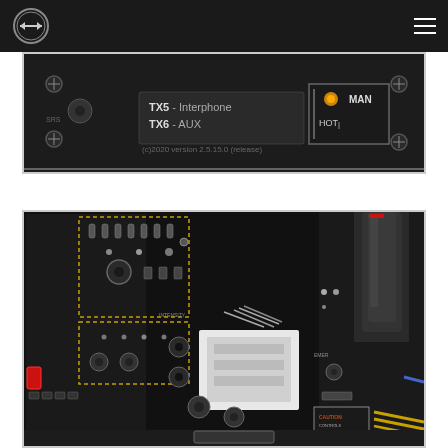Navigation/logo header bar
[Figure (screenshot): Screenshot of a flight simulator radio/audio panel interface showing TX5 - Interphone and TX6 - AUX labels, a HOT MAN indicator with illuminated amber light, and version text (c)2020 version 2.5.15.0 (release). Dark panel with gray bordered controls.]
[Figure (screenshot): Screenshot of a flight simulator cockpit overhead or center console panel showing multiple knobs, switches, dashed yellow bordered sections, and various avionics controls. Dark instrument panel with complex layout including a control column/yoke visible on the right side.]